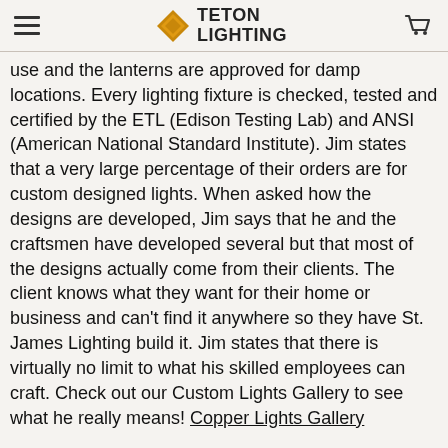Teton Lighting
use and the lanterns are approved for damp locations. Every lighting fixture is checked, tested and certified by the ETL (Edison Testing Lab) and ANSI (American National Standard Institute). Jim states that a very large percentage of their orders are for custom designed lights. When asked how the designs are developed, Jim says that he and the craftsmen have developed several but that most of the designs actually come from their clients. The client knows what they want for their home or business and can't find it anywhere so they have St. James Lighting build it. Jim states that there is virtually no limit to what his skilled employees can craft. Check out our Custom Lights Gallery to see what he really means! Copper Lights Gallery
St. James is also continually expanding their 5 finish colors, glass options and lighting options(gas or propane, Edison Base